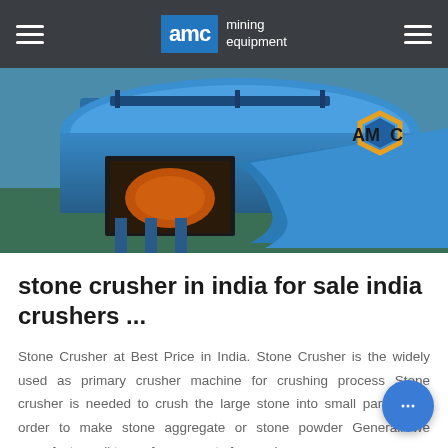AMC mining equipment
[Figure (photo): Blue mining/crushing equipment (stone crusher machine) photographed outdoors with AMC logo visible on the equipment]
stone crusher in india for sale india crushers ...
Stone Crusher at Best Price in India. Stone Crusher is the widely used as primary crusher machine for crushing process Stone crusher is needed to crush the large stone into small particles in order to make stone aggregate or stone powder Generally we manufacture all type of spare parts for crush...